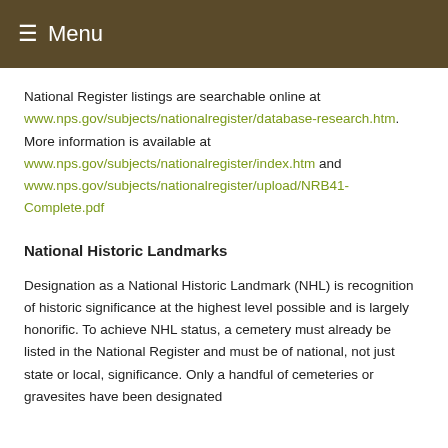≡ Menu
National Register listings are searchable online at www.nps.gov/subjects/nationalregister/database-research.htm. More information is available at www.nps.gov/subjects/nationalregister/index.htm and www.nps.gov/subjects/nationalregister/upload/NRB41-Complete.pdf
National Historic Landmarks
Designation as a National Historic Landmark (NHL) is recognition of historic significance at the highest level possible and is largely honorific. To achieve NHL status, a cemetery must already be listed in the National Register and must be of national, not just state or local, significance. Only a handful of cemeteries or gravesites have been designated